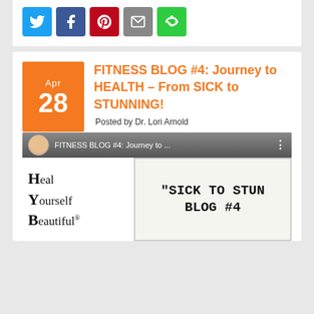[Figure (infographic): Social sharing buttons: Twitter (blue bird), Facebook (blue f), Pinterest (red P), Email (grey envelope), More (green share icon)]
FITNESS BLOG #4: Journey to HEALTH – From SICK to STUNNING!
Posted by Dr. Lori Arnold
[Figure (screenshot): YouTube video thumbnail showing FITNESS BLOG #4: Journey to... with Heal Yourself Beautiful logo and SICK TO STUN BLOG #4 handwritten text, plus a second image strip below]